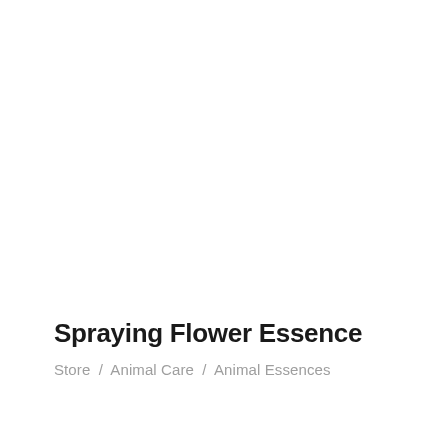Spraying Flower Essence
Store / Animal Care / Animal Essences